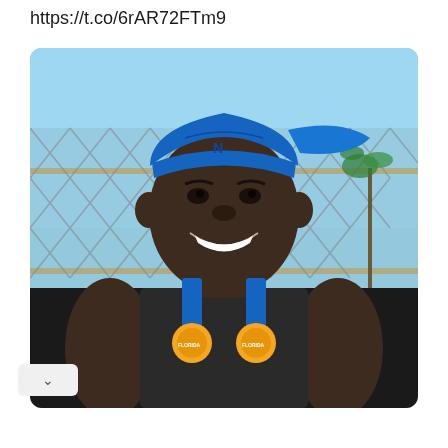https://t.co/6rAR72FTm9
[Figure (photo): A young man wearing a blue baseball cap turned backwards, a blue sweatband on his forehead, a dark sleeveless shirt, and a blue Florida tennis medal around his neck. He is smiling and standing in front of a chain-link fence with a blue sky and palm tree visible in the background. The photo is displayed in a social media post format with rounded corners.]